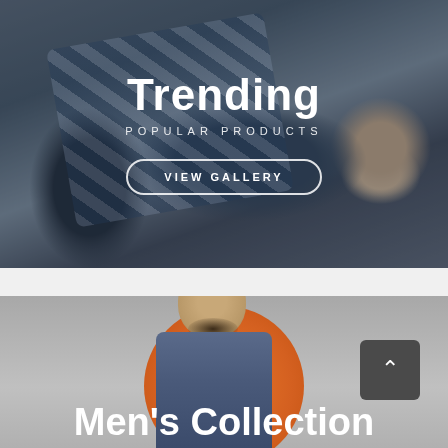[Figure (photo): Top banner section showing accessories/bags in dark blue tones on a wooden surface with text overlay]
Trending
POPULAR PRODUCTS
VIEW GALLERY
[Figure (photo): Bottom banner showing a smiling man in a blue jacket with an orange circular background element]
Men's Collection